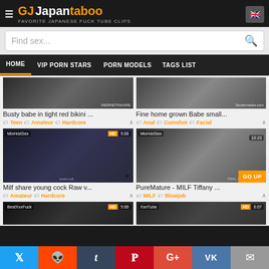GJ Japantaboo - FAVORITE JAPANESE FUCK TUBE CLIPS
Find sex...
HOME | VIP PORN STARS | PORN MODELS | TAGS LIST
[Figure (screenshot): Video thumbnail - Busty babe in tight red bikini]
Busty babe in tight red bikini ...
Teen  Amateur  Hardcore
[Figure (screenshot): Video thumbnail - Fine home grown Babe small]
Fine home grown Babe small...
Anal  Cumshot  Facial
[Figure (screenshot): Video thumbnail - Milf share young cock Raw v... MixHddSex HD 5:00]
Milf share young cock Raw v...
Amateur  Hardcore
[Figure (screenshot): Video thumbnail - PureMature - MILF Tiffany ... MixHddSex 10:23]
PureMature - MILF Tiffany ...
MILF  Blowjob
[Figure (screenshot): Video thumbnail BestXxxFuck HD 5:00]
[Figure (screenshot): Video thumbnail XxnTube HD 6:07]
Twitter Reddit Tumblr Pinterest G+ VK Email share buttons